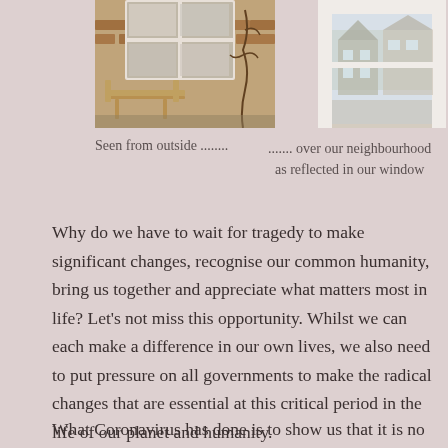[Figure (photo): Photo of house exterior seen from outside, showing a garden bench and vines on a brick wall with a white-framed window]
[Figure (photo): Photo of neighbourhood reflected in a window, showing white window frames and brick buildings reflected]
Seen from outside ........      ....... over our neighbourhood as reflected in our window
Why do we have to wait for tragedy to make significant changes, recognise our common humanity, bring us together and appreciate what matters most in life? Let's not miss this opportunity. Whilst we can each make a difference in our own lives, we also need to put pressure on all governments to make the radical changes that are essential at this critical period in the life of our planet and humanity.
What Coronavirus has done is to show us that it is no